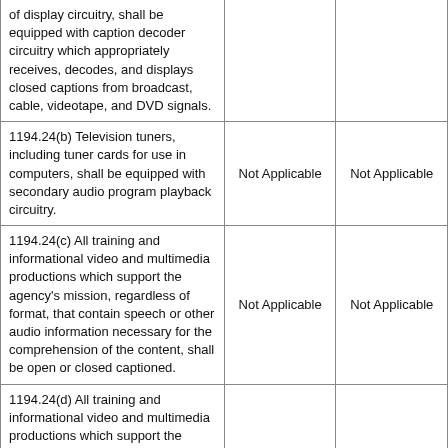| of display circuitry, shall be equipped with caption decoder circuitry which appropriately receives, decodes, and displays closed captions from broadcast, cable, videotape, and DVD signals. |  |  |
| 1194.24(b) Television tuners, including tuner cards for use in computers, shall be equipped with secondary audio program playback circuitry. | Not Applicable | Not Applicable |
| 1194.24(c) All training and informational video and multimedia productions which support the agency's mission, regardless of format, that contain speech or other audio information necessary for the comprehension of the content, shall be open or closed captioned. | Not Applicable | Not Applicable |
| 1194.24(d) All training and informational video and multimedia productions which support the agency's mission, regardless of format, that contain visual information necessary for the comprehension of the content, shall be audio described. | Not Applicable | Not Applicable |
| 1194.24(e) Display or presentation of alternate text presentation or audio descriptions shall be user-selectable unless permanent. | Not Applicable | Not Applicable |